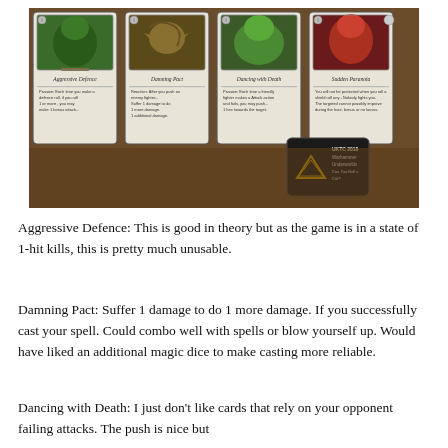[Figure (photo): Four Warhammer Underworlds game cards laid out side by side on a wooden surface: Aggressive Defence (green creature), Damning Pact (dragon/winged creature), Dancing with Death (green troll/creature), and Sudden Paranoia (red creature). A black tournament tag is visible in the lower right reading 'UKTC 2018 Warhammer Underworlds Can You Roll a Crit?']
Aggressive Defence: This is good in theory but as the game is in a state of 1-hit kills, this is pretty much unusable.
Damning Pact: Suffer 1 damage to do 1 more damage. If you successfully cast your spell. Could combo well with spells or blow yourself up. Would have liked an additional magic dice to make casting more reliable.
Dancing with Death: I just don't like cards that rely on your opponent failing attacks. The push is nice but